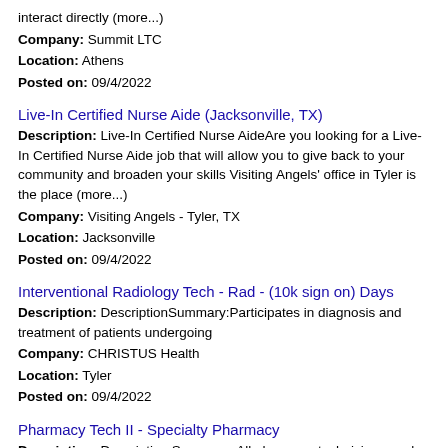interact directly (more...)
Company: Summit LTC
Location: Athens
Posted on: 09/4/2022
Live-In Certified Nurse Aide (Jacksonville, TX)
Description: Live-In Certified Nurse AideAre you looking for a Live-In Certified Nurse Aide job that will allow you to give back to your community and broaden your skills Visiting Angels' office in Tyler is the place (more...)
Company: Visiting Angels - Tyler, TX
Location: Jacksonville
Posted on: 09/4/2022
Interventional Radiology Tech - Rad - (10k sign on) Days
Description: DescriptionSummary:Participates in diagnosis and treatment of patients undergoing
Company: CHRISTUS Health
Location: Tyler
Posted on: 09/4/2022
Pharmacy Tech II - Specialty Pharmacy
Description: Description Summary: All pharmacy technicians work under...